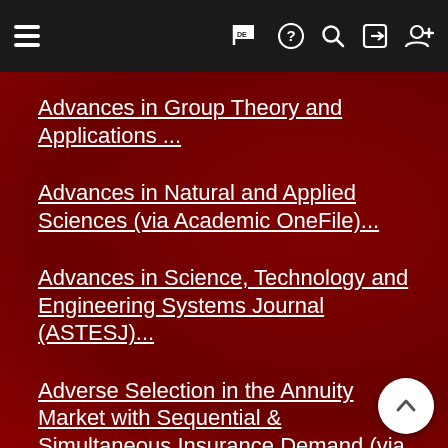Navigation bar with hamburger menu, flag/DE, help, search, login, and register icons
Advances in Group Theory and Applications ...
Advances in Natural and Applied Sciences (via Academic OneFile)...
Advances in Science, Technology and Engineering Systems Journal (ASTESJ)...
Adverse Selection in the Annuity Market with Sequential & Simultaneous Insurance Demand (via EBSCO Host)...